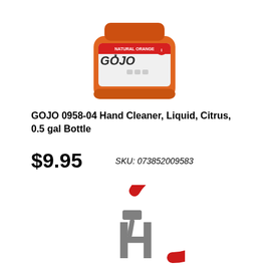[Figure (photo): GOJO Natural Orange hand cleaner orange plastic jug container]
GOJO 0958-04 Hand Cleaner, Liquid, Citrus, 0.5 gal Bottle
$9.95    SKU: 073852009583
[Figure (logo): Red circle with hammer icon and stylized H letter forming a company logo]